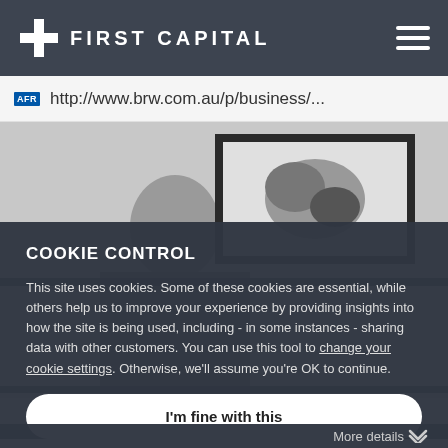FIRST CAPITAL
http://www.brw.com.au/p/business/...
[Figure (photo): Person partially visible with artwork/photographs in background, black and white]
COOKIE CONTROL
This site uses cookies. Some of these cookies are essential, while others help us to improve your experience by providing insights into how the site is being used, including - in some instances - sharing data with other customers. You can use this tool to change your cookie settings. Otherwise, we'll assume you're OK to continue.
I'm fine with this
More details